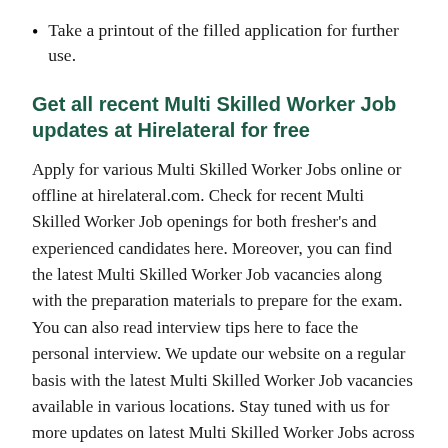Take a printout of the filled application for further use.
Get all recent Multi Skilled Worker Job updates at Hirelateral for free
Apply for various Multi Skilled Worker Jobs online or offline at hirelateral.com. Check for recent Multi Skilled Worker Job openings for both fresher's and experienced candidates here. Moreover, you can find the latest Multi Skilled Worker Job vacancies along with the preparation materials to prepare for the exam. You can also read interview tips here to face the personal interview. We update our website on a regular basis with the latest Multi Skilled Worker Job vacancies available in various locations. Stay tuned with us for more updates on latest Multi Skilled Worker Jobs across India. Subscribe to our email job alert to